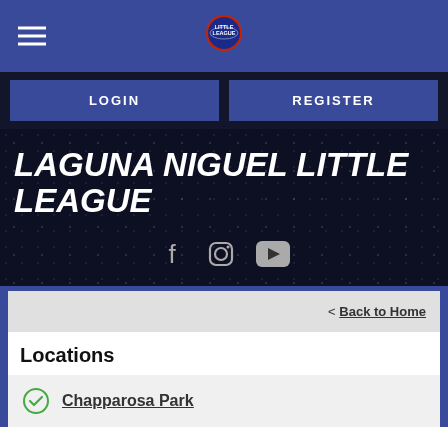[Figure (logo): Little League baseball logo centered in top navigation bar]
LOGIN
REGISTER
LAGUNA NIGUEL LITTLE LEAGUE
[Figure (other): Social media icons: Facebook, Instagram, YouTube]
< Back to Home
Locations
Chapparosa Park